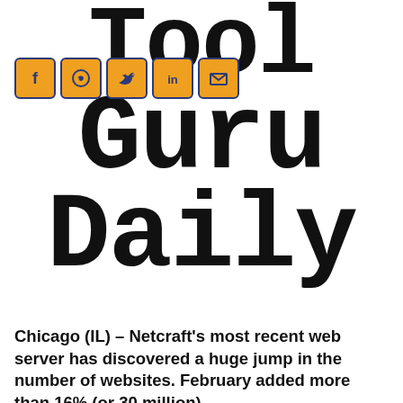Tool Guru Daily
[Figure (infographic): Social media share icons: Facebook, WhatsApp, Twitter, LinkedIn, Email — amber/orange colored square icons with dark blue borders]
Chicago (IL) – Netcraft's most recent web server has discovered a huge jump in the number of websites. February added more than 16% (or 30 million)…